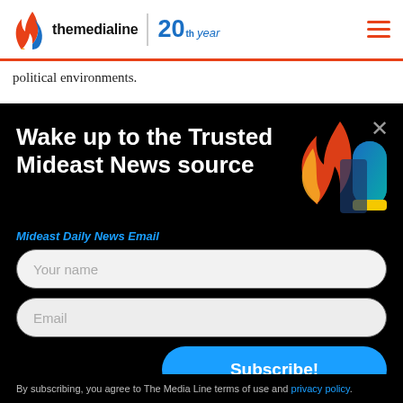themedialine | 20th year
political environments.
Wake up to the Trusted Mideast News source
Mideast Daily News Email
Your name
Email
Subscribe!
By subscribing, you agree to The Media Line terms of use and privacy policy.